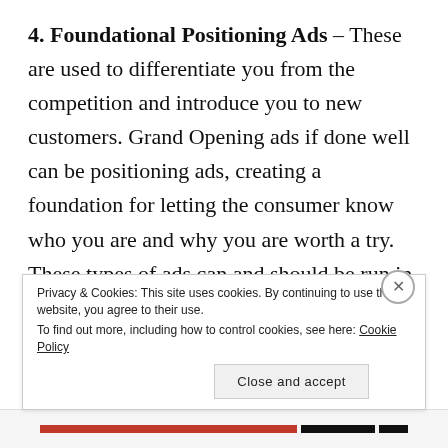4. Foundational Positioning Ads – These are used to differentiate you from the competition and introduce you to new customers. Grand Opening ads if done well can be positioning ads, creating a foundation for letting the consumer know who you are and why you are worth a try. These types of ads can and should be run in some periodic schedule so your value proposition is clear at all times. Portions of a foundational ad can be included in other ads, and frequently summarized are seen as tag lines, but a true foundational ad tends to be larger and
Privacy & Cookies: This site uses cookies. By continuing to use this website, you agree to their use. To find out more, including how to control cookies, see here: Cookie Policy
Close and accept